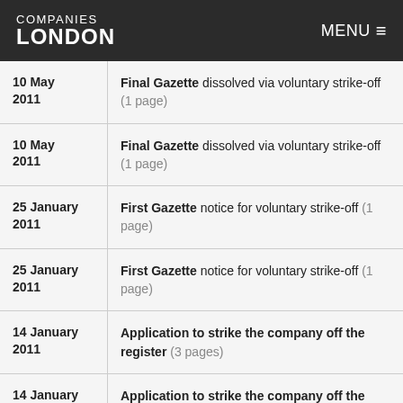COMPANIES LONDON   MENU
10 May 2011 | Final Gazette dissolved via voluntary strike-off (1 page)
10 May 2011 | Final Gazette dissolved via voluntary strike-off (1 page)
25 January 2011 | First Gazette notice for voluntary strike-off (1 page)
25 January 2011 | First Gazette notice for voluntary strike-off (1 page)
14 January 2011 | Application to strike the company off the register (3 pages)
14 January 2011 | Application to strike the company off the register (3 pages)